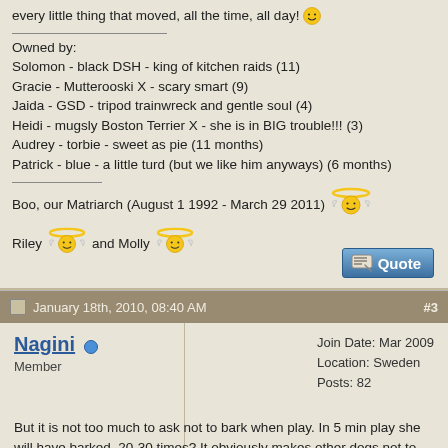every little thing that moved, all the time, all day! 😊

Owned by:
Solomon - black DSH - king of kitchen raids (11)
Gracie - Mutterooski X - scary smart (9)
Jaida - GSD - tripod trainwreck and gentle soul (4)
Heidi - mugsly Boston Terrier X - she is in BIG trouble!!! (3)
Audrey - torbie - sweet as pie (11 months)
Patrick - blue - a little turd (but we like him anyways) (6 months)

Boo, our Matriarch (August 1 1992 - March 29 2011) 👼

Riley 👼 and Molly 👼
January 18th, 2010, 08:40 AM  #3
Nagini
Member
Join Date: Mar 2009
Location: Sweden
Posts: 82
But it is not too much to ask not to bark when play. In 5 min play she will have barked, 20-30 times? It obviously makes other dogs not to play with her! You can see from the beginning everyone plays together, then Lily starts barking and they refuse to play with her.

This seems like a clear sign from the dog pack that they discourage this behaviour.